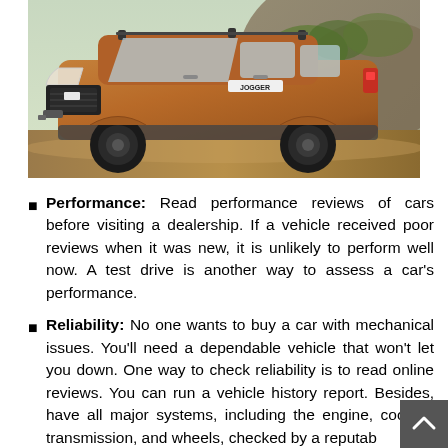[Figure (photo): Front three-quarter view of an orange/brown Dacia Jogger SUV parked on a rocky terrain with a rocky hill backdrop. The car badge 'JOGGER' is visible on the front grille area.]
Performance: Read performance reviews of cars before visiting a dealership. If a vehicle received poor reviews when it was new, it is unlikely to perform well now. A test drive is another way to assess a car's performance.
Reliability: No one wants to buy a car with mechanical issues. You'll need a dependable vehicle that won't let you down. One way to check reliability is to read online reviews. You can run a vehicle history report. Besides, have all major systems, including the engine, cooling, transmission, and wheels, checked by a reputable...